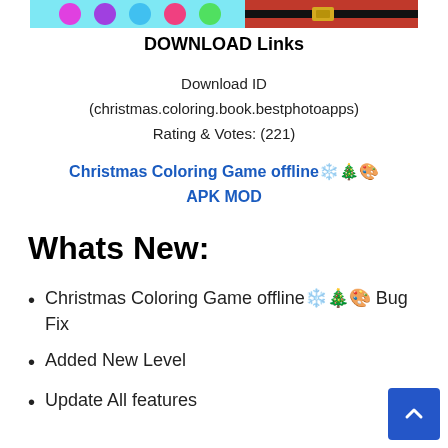[Figure (illustration): Partial banner image at top showing colorful circles on cyan background and a red/black belt section on right]
DOWNLOAD Links
Download ID
(christmas.coloring.book.bestphotoapps)
Rating & Votes: (221)
Christmas Coloring Game offline❄️🎄🎨 APK MOD
Whats New:
Christmas Coloring Game offline❄️🎄🎨 Bug Fix
Added New Level
Update All features